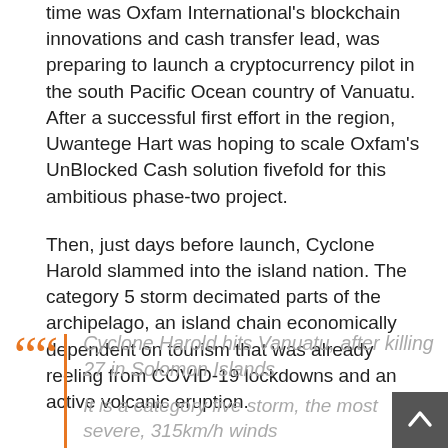time was Oxfam International's blockchain innovations and cash transfer lead, was preparing to launch a cryptocurrency pilot in the south Pacific Ocean country of Vanuatu. After a successful first effort in the region, Uwantege Hart was hoping to scale Oxfam's UnBlocked Cash solution fivefold for this ambitious phase-two project.
Then, just days before launch, Cyclone Harold slammed into the island nation. The category 5 storm decimated parts of the archipelago, an island chain economically dependent on tourism that was already reeling from COVID-19 lockdowns and an active volcanic eruption.
Cyclone Harold hits Vanuatu, after killing 27 in Solomon Islands
It is a category five storm, the most severe, 315km/h winds https://t.co/LeWgxlQowa